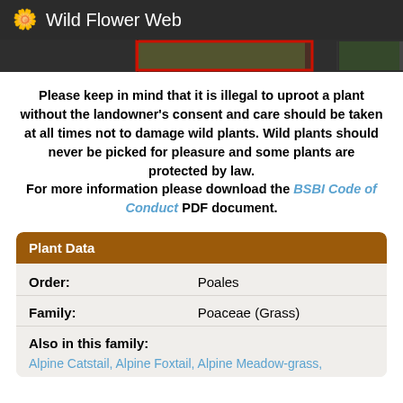🌼 Wild Flower Web
[Figure (photo): A strip of thumbnail photos of wildflowers, partially visible at top of page]
Please keep in mind that it is illegal to uproot a plant without the landowner's consent and care should be taken at all times not to damage wild plants. Wild plants should never be picked for pleasure and some plants are protected by law. For more information please download the BSBI Code of Conduct PDF document.
| Field | Value |
| --- | --- |
| Order: | Poales |
| Family: | Poaceae (Grass) |
| Also in this family: | Alpine Catstail, Alpine Foxtail, Alpine Meadow-grass, |